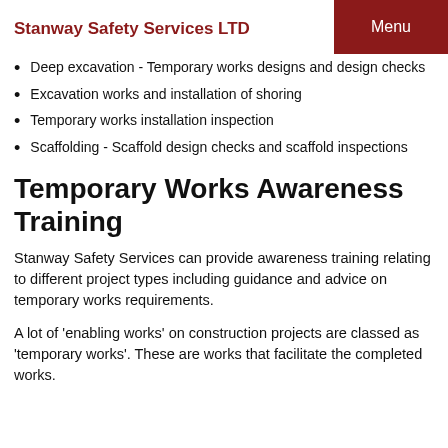Stanway Safety Services LTD
Deep excavation - Temporary works designs and design checks
Excavation works and installation of shoring
Temporary works installation inspection
Scaffolding - Scaffold design checks and scaffold inspections
Temporary Works Awareness Training
Stanway Safety Services can provide awareness training relating to different project types including guidance and advice on temporary works requirements.
A lot of 'enabling works' on construction projects are classed as 'temporary works'. These are works that facilitate the completed works.